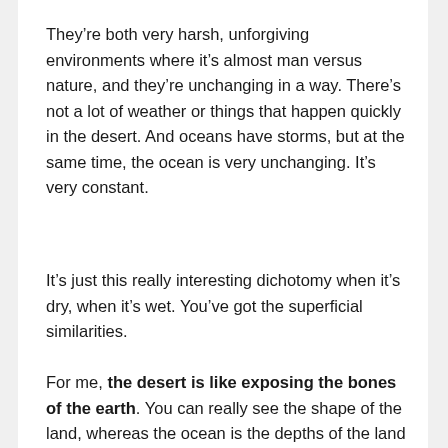They're both very harsh, unforgiving environments where it's almost man versus nature, and they're unchanging in a way. There's not a lot of weather or things that happen quickly in the desert. And oceans have storms, but at the same time, the ocean is very unchanging. It's very constant.
It's just this really interesting dichotomy when it's dry, when it's wet. You've got the superficial similarities.
For me, the desert is like exposing the bones of the earth. You can really see the shape of the land, whereas the ocean is the depths of the land